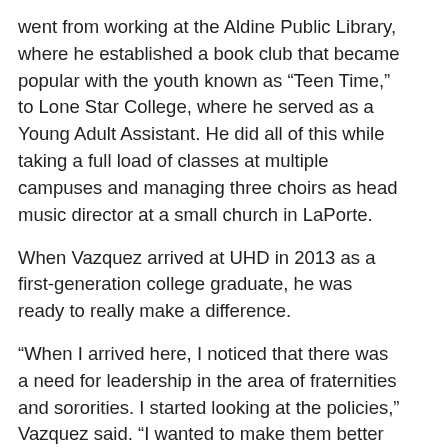went from working at the Aldine Public Library, where he established a book club that became popular with the youth known as “Teen Time,” to Lone Star College, where he served as a Young Adult Assistant. He did all of this while taking a full load of classes at multiple campuses and managing three choirs as head music director at a small church in LaPorte.
When Vazquez arrived at UHD in 2013 as a first-generation college graduate, he was ready to really make a difference.
“When I arrived here, I noticed that there was a need for leadership in the area of fraternities and sororities. I started looking at the policies,” Vazquez said. “I wanted to make them better and improve the Greek Life experience for students. We now have 12 Greek organizations with plans to expand.”
Long before the word “eSports” became a part of the American vernacular, Vazquez saw where the world of online gaming was headed and knew he wanted UHD to be